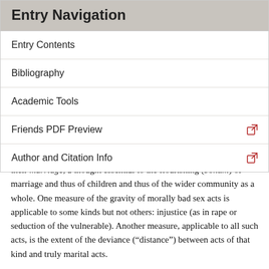Entry Navigation
Entry Contents
Bibliography
Academic Tools
Friends PDF Preview
Author and Citation Info
their marriage, a thought essential to the flourishing (bonum) of marriage and thus of children and thus of the wider community as a whole. One measure of the gravity of morally bad sex acts is applicable to some kinds but not others: injustice (as in rape or seduction of the vulnerable). Another measure, applicable to all such acts, is the extent of the deviance (“distance”) between acts of that kind and truly marital acts.
As in ours, many in Aquinas' milieu found it difficult to understand how mutually agreeable sex could be a serious moral issue, or indeed a moral issue at all. Aquinas noted